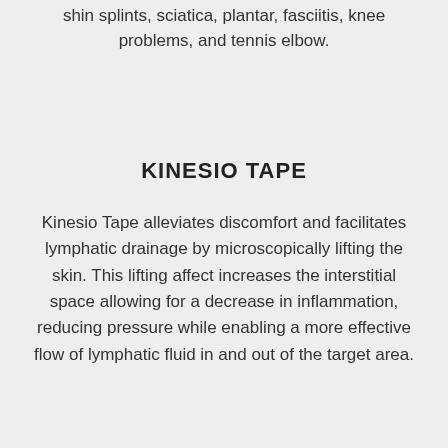shin splints, sciatica, plantar, fasciitis, knee problems, and tennis elbow.
KINESIO TAPE
Kinesio Tape alleviates discomfort and facilitates lymphatic drainage by microscopically lifting the skin. This lifting affect increases the interstitial space allowing for a decrease in inflammation, reducing pressure while enabling a more effective flow of lymphatic fluid in and out of the target area.